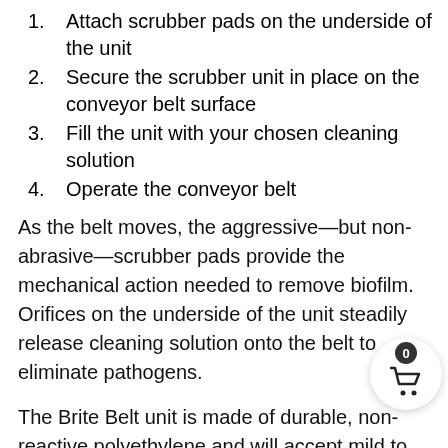1. Attach scrubber pads on the underside of the unit
2. Secure the scrubber unit in place on the conveyor belt surface
3. Fill the unit with your chosen cleaning solution
4. Operate the conveyor belt
As the belt moves, the aggressive—but non-abrasive—scrubber pads provide the mechanical action needed to remove biofilm. Orifices on the underside of the unit steadily release cleaning solution onto the belt to eliminate pathogens.
The Brite Belt unit is made of durable, non-reactive polyethylene and will accept mild to caustic cleaning solvents. Our specially designed scrubber pads
[Figure (illustration): Shopping cart icon with badge showing 0, white circular button overlay in bottom-right corner]